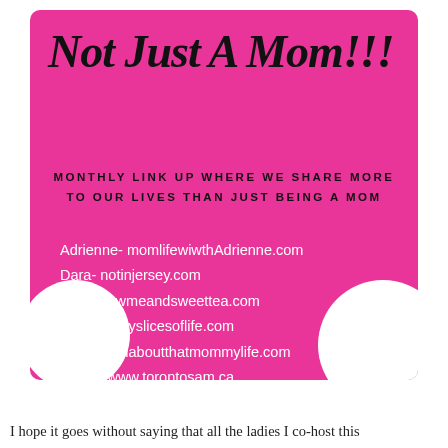Not Just A Mom!!!
MONTHLY LINK UP WHERE WE SHARE MORE TO OUR LIVES THAN JUST BEING A MOM
Adrienne- momlifewiwthAdrienne.com
Dara- notinjersey.com
Jen- showmeandsweettea.com
Joanne- myslicesoflife.com
Lauren- allaboutthatmommylife.com
Sarah- www.torontosam.ca
I hope it goes without saying that all the ladies I co-host this